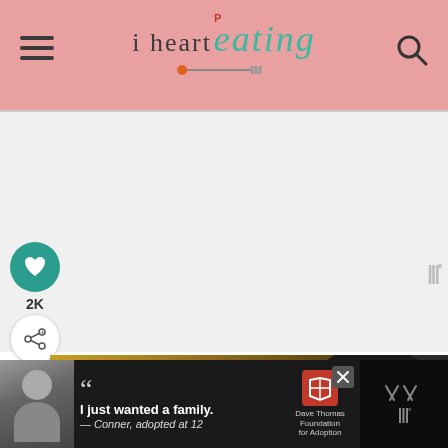[Figure (screenshot): Website header with pink/salmon background. Hamburger menu icon on left, 'i heart eating' logo in center with Pinterest icon and utensil graphic, search icon on right.]
[Figure (screenshot): Social sharing sidebar with teal heart button showing 2K likes, and share button below.]
2K
[Figure (photo): Close-up food photography showing dark textured bowl on wooden surface.]
WHAT'S NEXT → Easiest Chocolate...
[Figure (photo): Thumbnail image for 'Easiest Chocolate...' recipe showing chocolate dessert.]
[Figure (screenshot): Bottom advertisement bar on dark background. Shows young man photo, quote 'I just wanted a family. — Conner, adopted at 12', Dave Thomas Foundation for Adoption logo, and close/WW icons on right.]